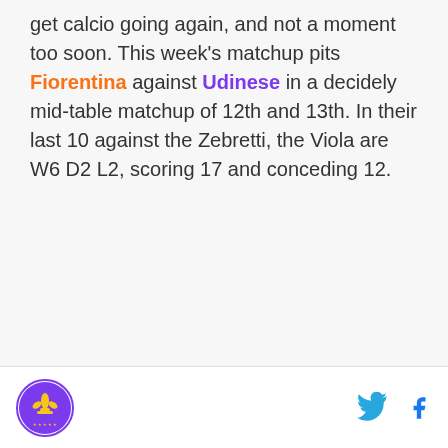get calcio going again, and not a moment too soon. This week's matchup pits Fiorentina against Udinese in a decidely mid-table matchup of 12th and 13th. In their last 10 against the Zebretti, the Viola are W6 D2 L2, scoring 17 and conceding 12.
Logo and social icons (Twitter, Facebook)